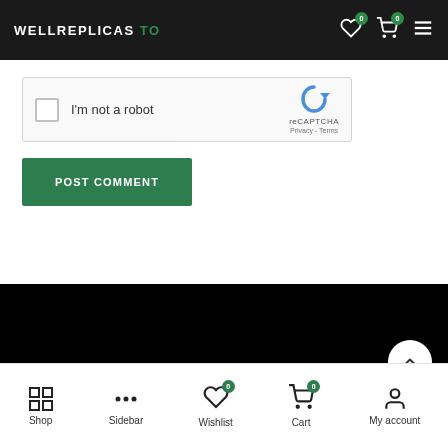WELLREPLICAS TO
[Figure (screenshot): reCAPTCHA widget with checkbox 'I'm not a robot' and reCAPTCHA logo with Privacy - Terms links]
POST COMMENT
[Figure (screenshot): Black footer section with scroll-to-top button]
Shop  Sidebar  Wishlist  Cart  My account